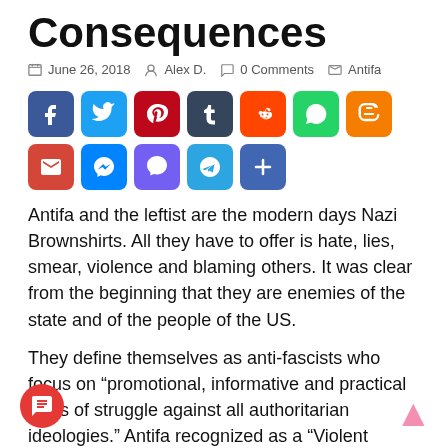Consequences
June 26, 2018  Alex D.  0 Comments  Antifa
[Figure (infographic): Social media share buttons: Facebook, Twitter, Pinterest, Tumblr, Reddit, WhatsApp, Blogger, Gmail, Messenger, Viber, Telegram, Share]
Antifa and the leftist are the modern days Nazi Brownshirts. All they have to offer is hate, lies, smear, violence and blaming others. It was clear from the beginning that they are enemies of the state and of the people of the US.
They define themselves as anti-fascists who focus on “promotional, informative and practical ways of struggle against all authoritarian ideologies.” Antifa recognized as a “Violent Political Social Experiment” with an emphasis on ‘Violent.’